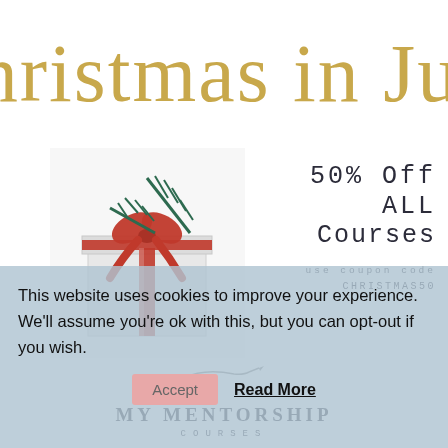Christmas in July
[Figure (photo): A white gift box with a red ribbon bow and green pine branch decoration on a white background]
50% Off ALL Courses
use coupon code CHRISTMAS50
[Figure (logo): My Mentorship Courses logo with script pen illustration above text]
This website uses cookies to improve your experience. We'll assume you're ok with this, but you can opt-out if you wish.
Accept   Read More